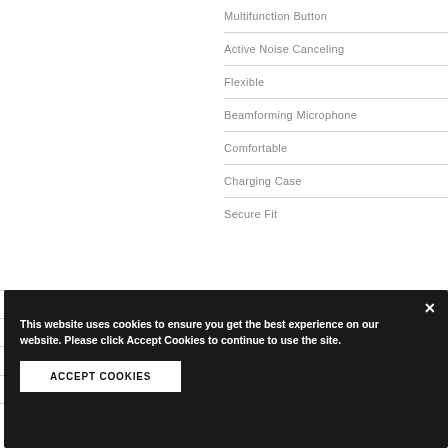Multifunction Button
Active Noise Canceling
Flexible
Beamforming Microphone
Comfortable
Charging Case
Secure Fit
|  |  |
| --- | --- |
| Wireless Technology | Bluetooth |
| Noise Canceling |  |
| Miscellaneous |  |
| Application | Music |
| Package Contents | • Fit Pro True Wireless Earbuds — Beats White |
This website uses cookies to ensure you get the best experience on our website. Please click Accept Cookies to continue to use the site.
ACCEPT COOKIES